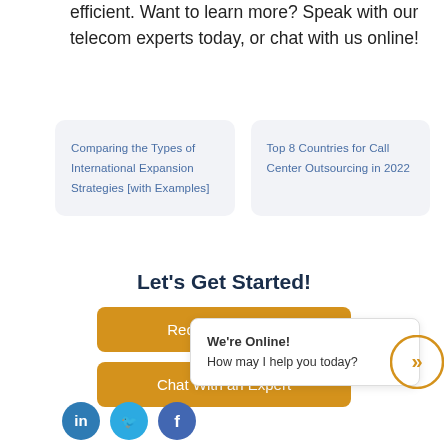efficient. Want to learn more? Speak with our telecom experts today, or chat with us online!
Comparing the Types of International Expansion Strategies [with Examples]
Top 8 Countries for Call Center Outsourcing in 2022
Let's Get Started!
Request a Quote
Chat With an Expert
We're Online!
How may I help you today?